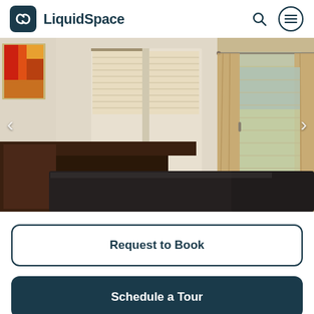LiquidSpace
[Figure (photo): Interior of a meeting room with dark wood podium/desk, black draped tables, cream walls, windows with blinds, glass sliding door with beige curtains, and an abstract red/orange painting on the left wall.]
Request to Book
Schedule a Tour